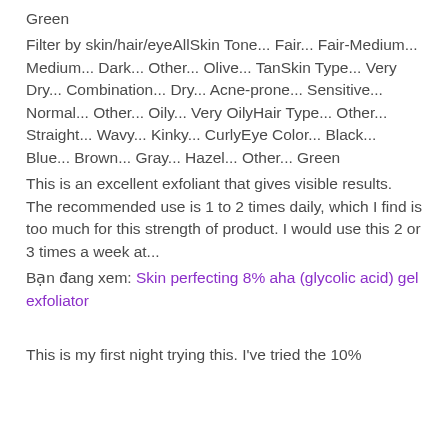Green
Filter by skin/hair/eyeAllSkin Tone... Fair... Fair-Medium... Medium... Dark... Other... Olive... TanSkin Type... Very Dry... Combination... Dry... Acne-prone... Sensitive... Normal... Other... Oily... Very OilyHair Type... Other... Straight... Wavy... Kinky... CurlyEye Color... Black... Blue... Brown... Gray... Hazel... Other... Green
This is an excellent exfoliant that gives visible results. The recommended use is 1 to 2 times daily, which I find is too much for this strength of product. I would use this 2 or 3 times a week at...
Bạn đang xem: Skin perfecting 8% aha (glycolic acid) gel exfoliator
This is my first night trying this. I've tried the 10% aha in the past with okay results. So pricing...